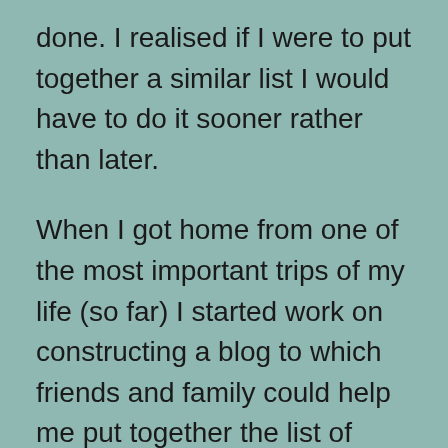done. I realised if I were to put together a similar list I would have to do it sooner rather than later.
When I got home from one of the most important trips of my life (so far) I started work on constructing a blog to which friends and family could help me put together the list of things to do before I turned 30. I called this blog 30 Out Of 30 which makes sense as becoming the title of the documentary I intend on putting together for it. The hope being, by the time I hit 30 I would indeed have completed 30 out of the 30 things I had